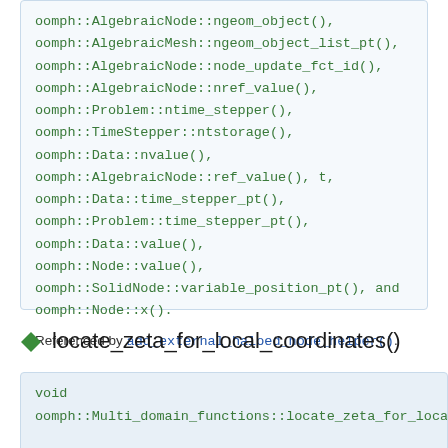oomph::AlgebraicNode::ngeom_object(), oomph::AlgebraicMesh::ngeom_object_list_pt(), oomph::AlgebraicNode::node_update_fct_id(), oomph::AlgebraicNode::nref_value(), oomph::Problem::ntime_stepper(), oomph::TimeStepper::ntstorage(), oomph::Data::nvalue(), oomph::AlgebraicNode::ref_value(), t, oomph::Data::time_stepper_pt(), oomph::Problem::time_stepper_pt(), oomph::Data::value(), oomph::Node::value(), oomph::SolidNode::variable_position_pt(), and oomph::Node::x().
Referenced by add_external_haloed_node_helper().
locate_zeta_for_local_coordinates()
void oomph::Multi_domain_functions::locate_zeta_for_local_coordinates